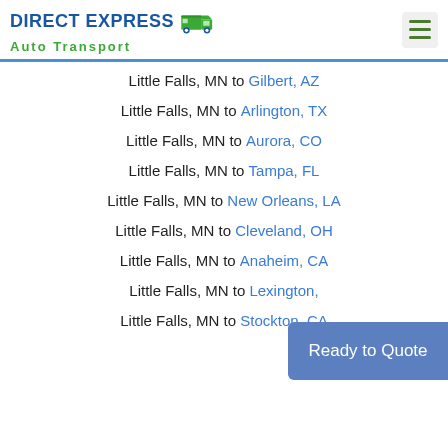DIRECT EXPRESS Auto Transport
Little Falls, MN to Gilbert, AZ
Little Falls, MN to Arlington, TX
Little Falls, MN to Aurora, CO
Little Falls, MN to Tampa, FL
Little Falls, MN to New Orleans, LA
Little Falls, MN to Cleveland, OH
Little Falls, MN to Anaheim, CA
Little Falls, MN to Lexington,
Little Falls, MN to Stockton, CA